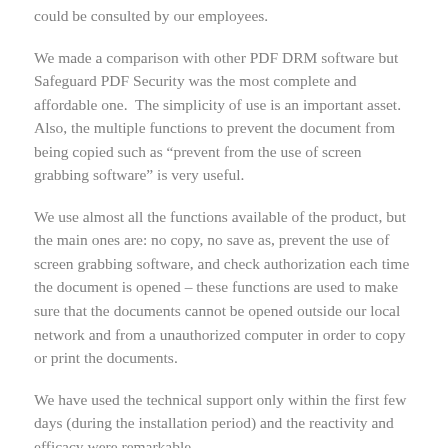could be consulted by our employees.
We made a comparison with other PDF DRM software but Safeguard PDF Security was the most complete and affordable one.  The simplicity of use is an important asset.  Also, the multiple functions to prevent the document from being copied such as “prevent from the use of screen grabbing software” is very useful.
We use almost all the functions available of the product, but the main ones are: no copy, no save as, prevent the use of screen grabbing software, and check authorization each time the document is opened – these functions are used to make sure that the documents cannot be opened outside our local network and from a unauthorized computer in order to copy or print the documents.
We have used the technical support only within the first few days (during the installation period) and the reactivity and efficacy were remarkable.